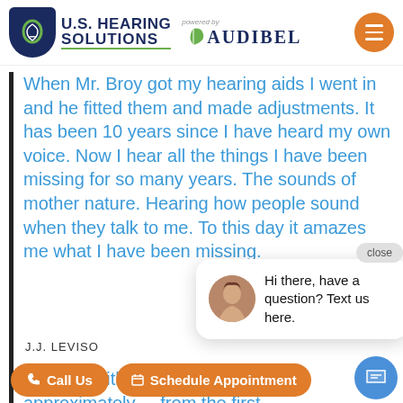U.S. HEARING SOLUTIONS powered by AUDIBEL
When Mr. Broy got my hearing aids I went in and he fitted them and made adjustments. It has been 10 years since I have heard my own voice. Now I hear all the things I have been missing for so many years. The sounds of mother nature. Hearing how people sound when they talk to me. To this day it amazes me what I have been missing.
J.J. LEVISO
[Figure (screenshot): Chat widget popup with female avatar photo and text: Hi there, have a question? Text us here. With a close button.]
I started with US Hearing Solutions approximately ... from the first day, Cheryl Dixon has been nothing but the best
Call Us
Schedule Appointment